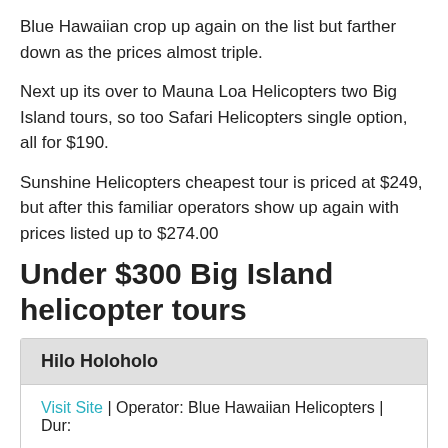Blue Hawaiian crop up again on the list but farther down as the prices almost triple.
Next up its over to Mauna Loa Helicopters two Big Island tours, so too Safari Helicopters single option, all for $190.
Sunshine Helicopters cheapest tour is priced at $249, but after this familiar operators show up again with prices listed up to $274.00
Under $300 Big Island helicopter tours
| Hilo Holoholo |
| --- |
| Visit Site | Operator: Blue Hawaiian Helicopters | Dur: |